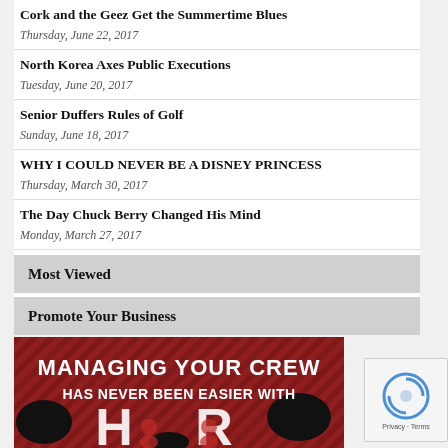Cork and the Geez Get the Summertime Blues
Thursday, June 22, 2017
North Korea Axes Public Executions
Tuesday, June 20, 2017
Senior Duffers Rules of Golf
Sunday, June 18, 2017
WHY I COULD NEVER BE A DISNEY PRINCESS
Thursday, March 30, 2017
The Day Chuck Berry Changed His Mind
Monday, March 27, 2017
Most Viewed
Promote Your Business
[Figure (photo): Advertisement image with red and black background reading MANAGING YOUR CREW HAS NEVER BEEN EASIER WITH HR (partial)]